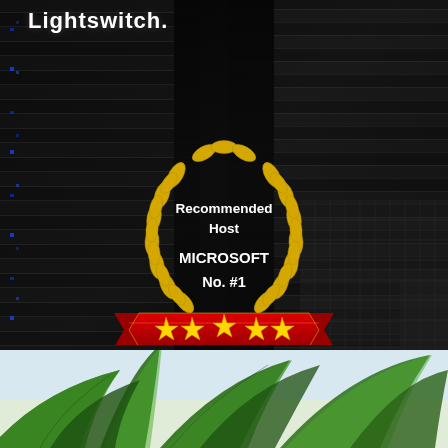Lightswitch.
[Figure (illustration): Award badge with golden laurel wreath, text 'Recommended Host MICROSOFT No. #1', and a red banner with 5 gold stars below, set against a dark server room background]
[Figure (photo): Green tropical plant leaves against a light sky background at the bottom of the page]